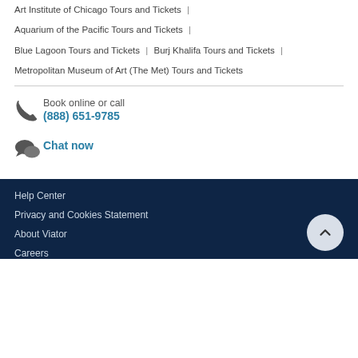Art Institute of Chicago Tours and Tickets |
Aquarium of the Pacific Tours and Tickets |
Blue Lagoon Tours and Tickets | Burj Khalifa Tours and Tickets |
Metropolitan Museum of Art (The Met) Tours and Tickets
Book online or call (888) 651-9785
Chat now
Help Center
Privacy and Cookies Statement
About Viator
Careers